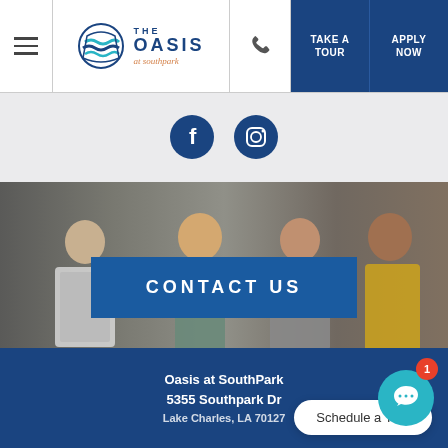The Oasis at SouthPark — Navigation bar with hamburger menu, logo, phone, Take a Tour, Apply Now
[Figure (screenshot): Social media icons: Facebook and Instagram circular icons on light grey background]
[Figure (photo): Group of young people sitting with devices (tablet, laptop, phone), with CONTACT US blue button overlay]
Schedule a Tour
Oasis at SouthPark
5355 Southpark Dr
[Figure (other): Chat widget button with teal circle icon and red badge showing 1 unread message]